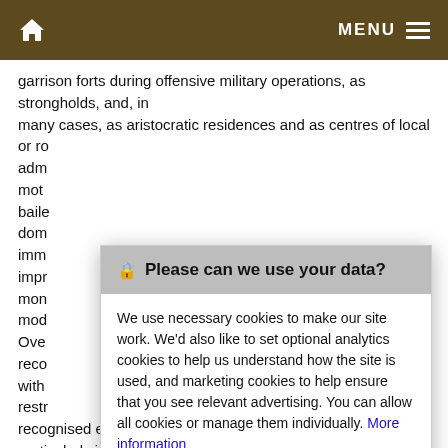🏠  MENU ≡
garrison forts during offensive military operations, as strongholds, and, in many cases, as aristocratic residences and as centres of local or ro adm mot baile dom imm impr mon mod Over reco with restr recognised early post-Conquest monuments, they are particularly important for
🔒 Please can we use your data?

We use necessary cookies to make our site work. We'd also like to set optional analytics cookies to help us understand how the site is used, and marketing cookies to help ensure that you see relevant advertising. You can allow all cookies or manage them individually. More information

[Accept Cookies]  [Customise Cookies]